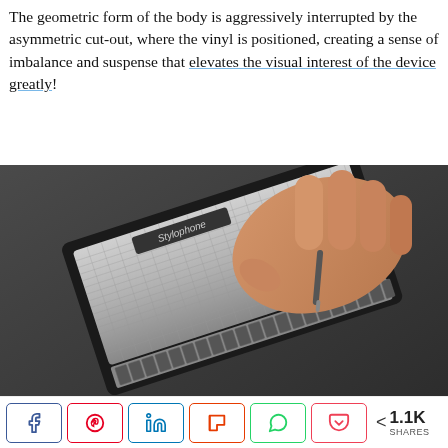The geometric form of the body is aggressively interrupted by the asymmetric cut-out, where the vinyl is positioned, creating a sense of imbalance and suspense that elevates the visual interest of the device greatly!
[Figure (photo): A hand holding and playing a Stylophone pocket synthesizer, showing the metallic keyboard grid and logo on a dark grey background.]
< 1.1K SHARES (social share buttons: Facebook, Pinterest, LinkedIn, Flipboard, WhatsApp, Pocket)